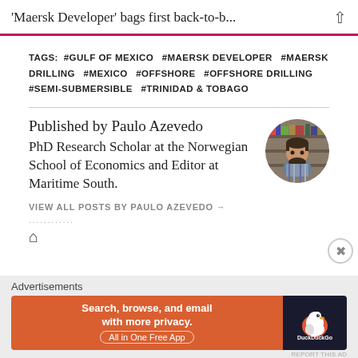'Maersk Developer' bags first back-to-b...
TAGS: #GULF OF MEXICO #MAERSK DEVELOPER #MAERSK DRILLING #MEXICO #OFFSHORE #OFFSHORE DRILLING #SEMI-SUBMERSIBLE #TRINIDAD & TOBAGO
Published by Paulo Azevedo
PhD Research Scholar at the Norwegian School of Economics and Editor at Maritime South.
VIEW ALL POSTS BY PAULO AZEVEDO →
............
[Figure (photo): Circular profile photo of Paulo Azevedo, a bearded man]
Advertisements
[Figure (screenshot): DuckDuckGo advertisement banner: 'Search, browse, and email with more privacy. All in One Free App' with DuckDuckGo logo on dark background]